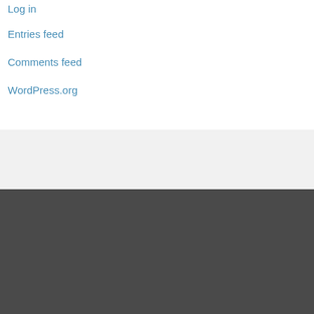Log in
Entries feed
Comments feed
WordPress.org
News
Gallery
Audio Clips
Reviews
Links